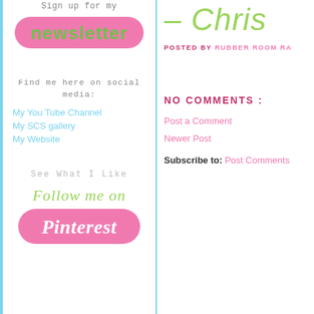Sign up for my
[Figure (illustration): Pink rounded rectangle button with green bold text reading 'newsletter']
Find me here on social media:
My You Tube Channel
My SCS gallery
My Website
See What I Like
[Figure (illustration): Green italic text 'Follow me on' above a pink rounded rectangle button with white italic text 'Pinterest']
- Chris
POSTED BY RUBBER ROOM RA
NO COMMENTS :
Post a Comment
Newer Post
Subscribe to: Post Comments